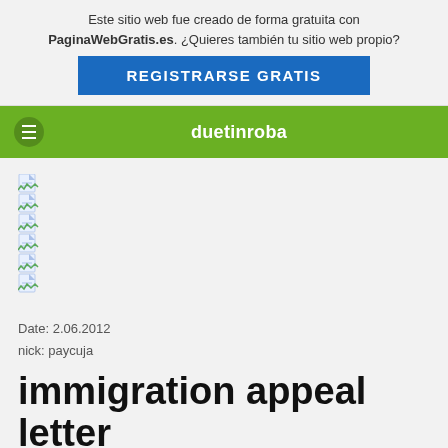Este sitio web fue creado de forma gratuita con PaginaWebGratis.es. ¿Quieres también tu sitio web propio? REGISTRARSE GRATIS
duetinroba
[Figure (illustration): Six small file/document icons stacked vertically]
Date: 2.06.2012
nick: paycuja
immigration appeal letter sample